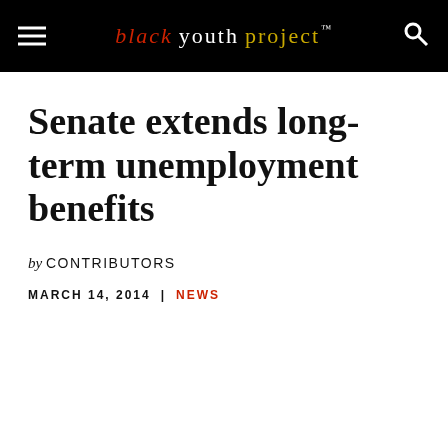black youth project™
Senate extends long-term unemployment benefits
by CONTRIBUTORS
MARCH 14, 2014  |  NEWS